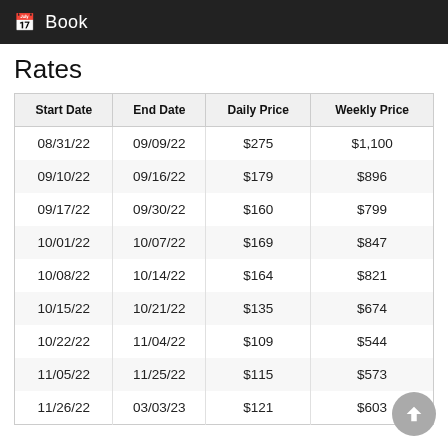Book
Rates
| Start Date | End Date | Daily Price | Weekly Price |
| --- | --- | --- | --- |
| 08/31/22 | 09/09/22 | $275 | $1,100 |
| 09/10/22 | 09/16/22 | $179 | $896 |
| 09/17/22 | 09/30/22 | $160 | $799 |
| 10/01/22 | 10/07/22 | $169 | $847 |
| 10/08/22 | 10/14/22 | $164 | $821 |
| 10/15/22 | 10/21/22 | $135 | $674 |
| 10/22/22 | 11/04/22 | $109 | $544 |
| 11/05/22 | 11/25/22 | $115 | $573 |
| 11/26/22 | 03/03/23 | $121 | $603 |